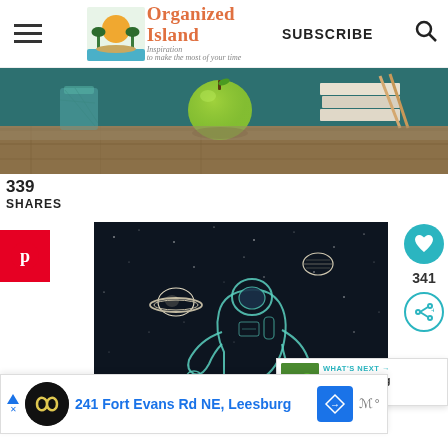Organized Island — Inspiration to make the most of your time | SUBSCRIBE
[Figure (photo): Photo of a green apple, pencil cup, and books/chopsticks on a wooden surface with teal background]
339
SHARES
[Figure (illustration): Chalk-style illustration of an astronaut floating in space with planets (Saturn and another planet) on dark navy background]
[Figure (screenshot): What's Next banner: Money Saving Tips for...]
[Figure (screenshot): Advertisement banner: 241 Fort Evans Rd NE, Leesburg]